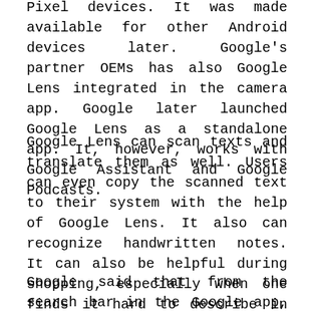Pixel devices. It was made available for other Android devices later. Google's partner OEMs has also Google Lens integrated in the camera app. Google later launched Google Lens as a standalone app. It, however, works with Google Assistant and Google Podcasts.
Google Lens can scan texts and translate them as well. Users can even copy the scanned text to their system with the help of Google Lens. It also can recognize handwritten notes. It can also be helpful during shopping, especially when one finds it hard to describe in words what he is looking for. Users can search for any product by just clicking a photo or screenshot and uploading it. Google said that it can assist those learning a new language. It can translate as many as 100 languages. Users can tap it to hear the words.
Google said that from the search bar in the Google app, users can use Google Lens to get help address a homework problem. It provides step-by-step guides